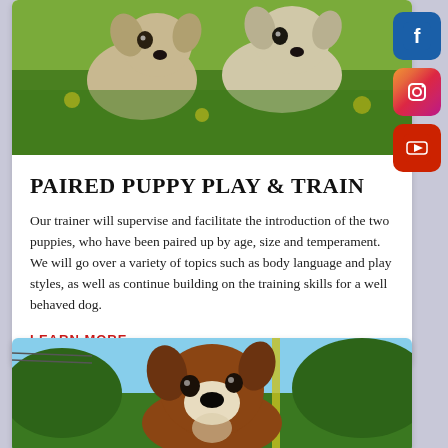[Figure (photo): Two puppies playing in green grass with yellow flowers]
PAIRED PUPPY PLAY & TRAIN
Our trainer will supervise and facilitate the introduction of the two puppies, who have been paired up by age, size and temperament. We will go over a variety of topics such as body language and play styles, as well as continue building on the training skills for a well behaved dog.
LEARN MORE
[Figure (photo): A boxer dog looking up with a leash, blue sky and trees in the background]